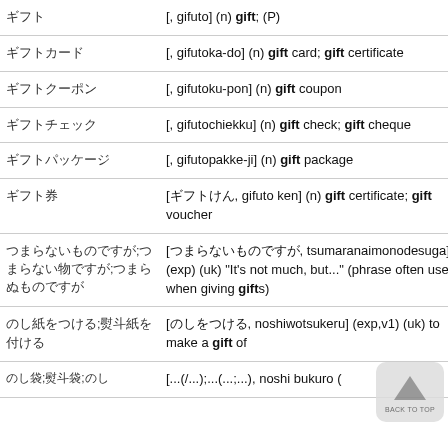| Japanese | Definition |
| --- | --- |
| ギフト | [, gifuto] (n) gift; (P) |
| ギフトカード | [, gifutoka-do] (n) gift card; gift certificate |
| ギフトクーポン | [, gifutoku-pon] (n) gift coupon |
| ギフトチェック | [, gifutochiekku] (n) gift check; gift cheque |
| ギフトパッケージ | [, gifutopakke-ji] (n) gift package |
| ギフト券 | [ギフトけん, gifuto ken] (n) gift certificate; gift voucher |
| つまらないものですが;詰まらない物ですが;つまらぬものですが | [つまらないものですが, tsumaranaimonodesuga] (exp) (uk) "It's not much, but..." (phrase often used when giving gifts) |
| のし紙をつける;熨斗紙を付ける | [のしをつける, noshiwotsukeru] (exp,v1) (uk) to make a gift of |
| のし袋;熨斗袋;のし | [...(/...);...(...;...), noshi bukuro ( |